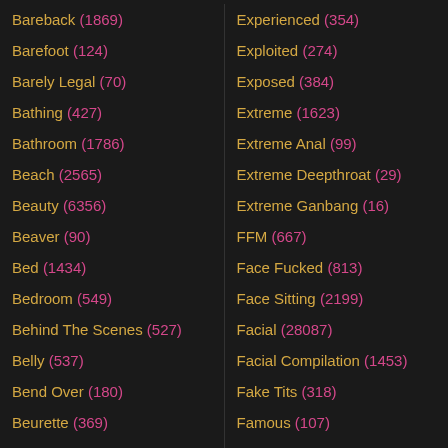Bareback (1869)
Barefoot (124)
Barely Legal (70)
Bathing (427)
Bathroom (1786)
Beach (2565)
Beauty (6356)
Beaver (90)
Bed (1434)
Bedroom (549)
Behind The Scenes (527)
Belly (537)
Bend Over (180)
Beurette (369)
Big Ass (35716)
Big Black Cock (10133)
Experienced (354)
Exploited (274)
Exposed (384)
Extreme (1623)
Extreme Anal (99)
Extreme Deepthroat (29)
Extreme Ganbang (16)
FFM (667)
Face Fucked (813)
Face Sitting (2199)
Facial (28087)
Facial Compilation (1453)
Fake Tits (318)
Famous (107)
Fantasy (915)
Farm (45)